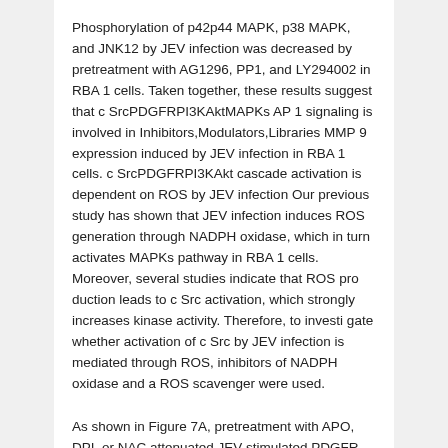Phosphorylation of p42p44 MAPK, p38 MAPK, and JNK12 by JEV infection was decreased by pretreatment with AG1296, PP1, and LY294002 in RBA 1 cells. Taken together, these results suggest that c SrcPDGFRPI3KAktMAPKs AP 1 signaling is involved in Inhibitors,Modulators,Libraries MMP 9 expression induced by JEV infection in RBA 1 cells. c SrcPDGFRPI3KAkt cascade activation is dependent on ROS by JEV infection Our previous study has shown that JEV infection induces ROS generation through NADPH oxidase, which in turn activates MAPKs pathway in RBA 1 cells. Moreover, several studies indicate that ROS pro duction leads to c Src activation, which strongly increases kinase activity. Therefore, to investi gate whether activation of c Src by JEV infection is mediated through ROS, inhibitors of NADPH oxidase and a ROS scavenger were used.
As shown in Figure 7A, pretreatment with APO, DPI, or NAC attenuated JEV stimulated PDGFR and c Inhibitors,Modulators,Libraries Src phos phorylation in the